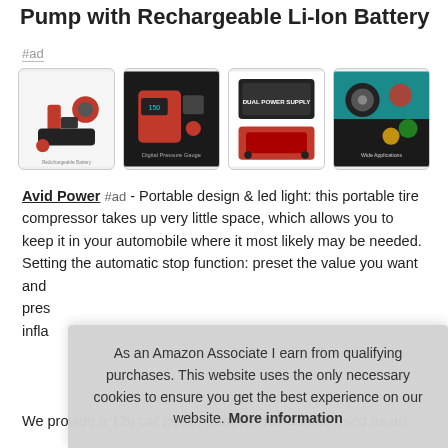Pump with Rechargeable Li-Ion Battery
#ad
[Figure (photo): Four product thumbnail images of a portable tire inflator/compressor with rechargeable battery]
Avid Power #ad - Portable design & led light: this portable tire compressor takes up very little space, which allows you to keep it in your automobile where it most likely may be needed. Setting the automatic stop function: preset the value you want and pres... infla...
We provide a 12v car power adapter that can be used as an
As an Amazon Associate I earn from qualifying purchases. This website uses the only necessary cookies to ensure you get the best experience on our website. More information